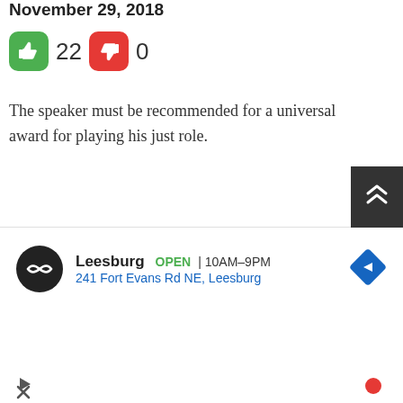November 29, 2018
[Figure (infographic): Thumbs up (green) count: 22, Thumbs down (red) count: 0]
The speaker must be recommended for a universal award for playing his just role.
[Figure (illustration): Decorative diamond/snowflake pattern icon in brown/orange color]
JD / November 30, 2018
[Figure (infographic): Thumbs up (green) count: 1, Thumbs down (red) count: 3]
There is something new developing in the Ananda Hospital aka Walikade Maithripala...
[Figure (screenshot): Advertisement overlay: Leesburg store, OPEN 10AM-9PM, 241 Fort Evans Rd NE Leesburg. Close X button. Back to top button with double up arrow.]